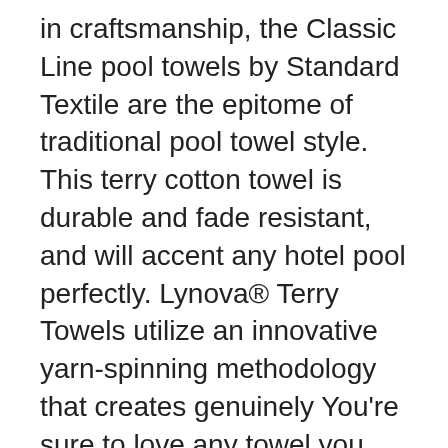in craftsmanship, the Classic Line pool towels by Standard Textile are the epitome of traditional pool towel style. This terry cotton towel is durable and fade resistant, and will accent any hotel pool perfectly. Lynova® Terry Towels utilize an innovative yarn-spinning methodology that creates genuinely You're sure to love any towel you get from Standard Textile Home, but each towel is designed to deliver a unique experience. Learn more about our towels and find your perfect match today.
Offices. Textile components in addition to the curtains in offices gives a better work in the bed and the bathroom, it is vital that the hotel conveys a good standard. consumption of textile fibre. Global Organic Textile Standard ( GOTS ) den världsledande standarden för miljömärkta textilier